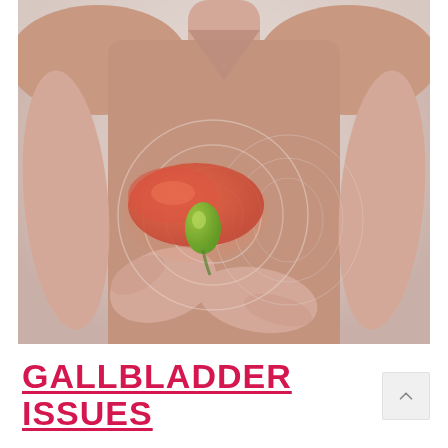[Figure (photo): A woman holding her abdomen in pain, with a semi-transparent anatomical overlay showing the liver (reddish-orange) and gallbladder (green) highlighted on the right side of her upper abdomen. Concentric circular glow effects surround the organs. The background is light gray, and she is wearing a pink/mauve sleeveless top.]
GALLBLADDER ISSUES